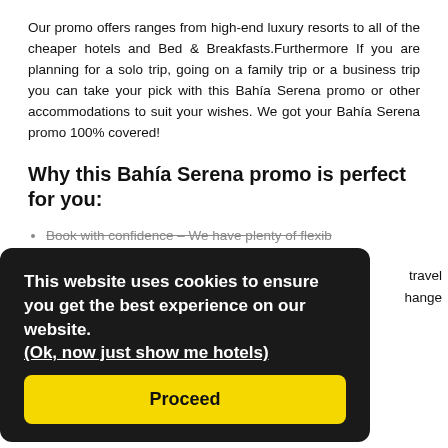Our promo offers ranges from high-end luxury resorts to all of the cheaper hotels and Bed & Breakfasts.Furthermore If you are planning for a solo trip, going on a family trip or a business trip you can take your pick with this Bahía Serena promo or other accommodations to suit your wishes. We got your Bahía Serena promo 100% covered!
Why this Bahía Serena promo is perfect for you:
Book with confidence – We have plenty of flexible travel options, so you can feel free to change your plans.
Bookings done completely online (Roquetas de Mar)
Booking done completely online
Never pay any upfront hotel!
You don't pay any booking fees
Choose your own type of room